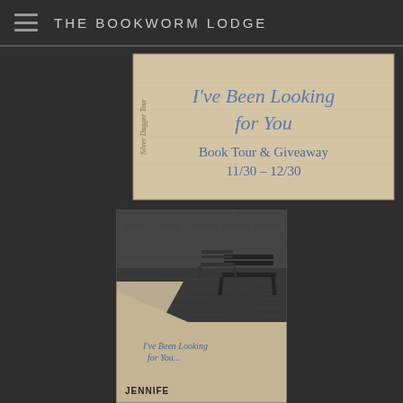THE BOOKWORM LODGE
[Figure (illustration): Silver Dagger Tour banner for 'I've Been Looking for You' Book Tour & Giveaway 11/30 - 12/30, featuring cursive text on aged parchment background]
[Figure (illustration): Book cover of 'I've Been Looking for You' by Jennifer, showing black and white photo of iron benches on a cobblestone courtyard with a brick wall, combined with aged paper with cursive title text at bottom]